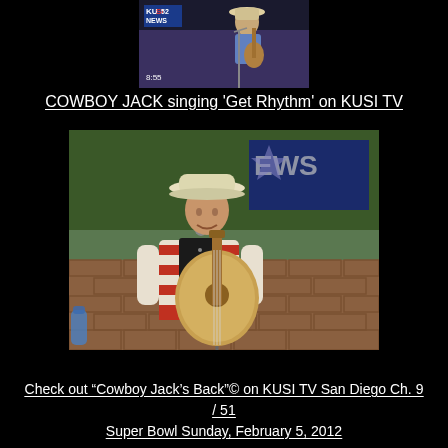[Figure (screenshot): Top screenshot of KUSI News TV broadcast showing a performer with guitar, with KUSI 52 NEWS logo and timestamp 8:55 visible]
COWBOY JACK singing 'Get Rhythm' on KUSI TV
[Figure (photo): Photo of Cowboy Jack performing outdoors, wearing a white cowboy hat and patriotic American flag shirt, playing acoustic guitar at a microphone, with KUSI News signage in background and brick wall]
Check out “Cowboy Jack’s Back”© on KUSI TV San Diego Ch. 9 / 51
Super Bowl Sunday, February 5, 2012